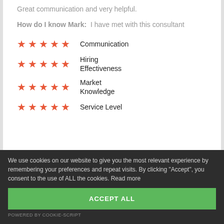Great communication and very helpful.
How do I know Mark: I have met with this consultant
★★★★★ Communication
★★★★★ Hiring Effectiveness
★★★★★ Market Knowledge
★★★★★ Service Level
We use cookies on our website to give you the most relevant experience by remembering your preferences and repeat visits. By clicking "Accept", you consent to the use of ALL the cookies. Read more
ACCEPT ALL
POWERED BY COOKIE-SCRIPT